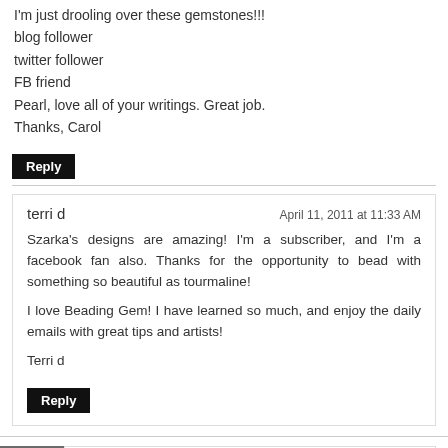I'm just drooling over these gemstones!!!
blog follower
twitter follower
FB friend
Pearl, love all of your writings. Great job.
Thanks, Carol
Reply
terri d
April 11, 2011 at 11:33 AM
Szarka's designs are amazing! I'm a subscriber, and I'm a facebook fan also. Thanks for the opportunity to bead with something so beautiful as tourmaline!

I love Beading Gem! I have learned so much, and enjoy the daily emails with great tips and artists!

Terri d
Reply
BeadsForever
April 11, 2011 at 11:40 AM
[Figure (photo): Avatar photo of BeadsForever commenter]